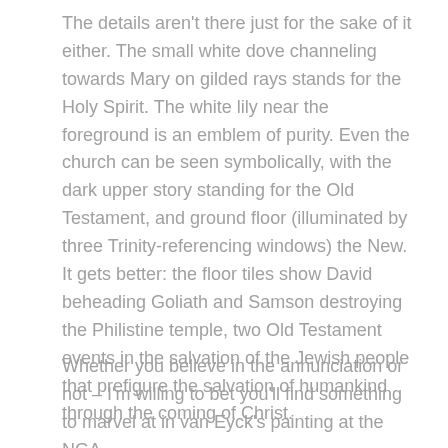The details aren't there just for the sake of it either. The small white dove channeling towards Mary on gilded rays stands for the Holy Spirit. The white lily near the foreground is an emblem of purity. Even the church can be seen symbolically, with the dark upper story standing for the Old Testament, and ground floor (illuminated by three Trinity-referencing windows) the New. It gets better: the floor tiles show David beheading Goliath and Samson destroying the Philistine temple, two Old Testament events in the salvation of the Jewish people that prefigure the salvation of humankind through the coming of Christ.
Whether you believe in the annunciation or not – I'm willing to bet you'll find something to marvel at in van Eyck's painting at the NGA.